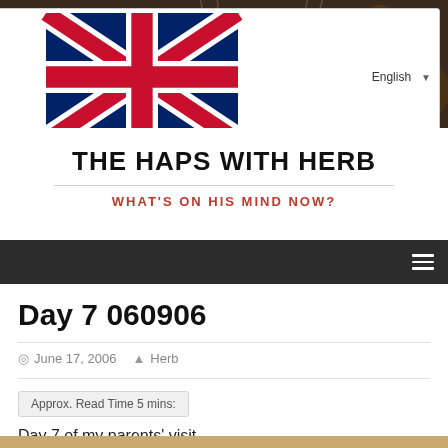[Figure (photo): Photo of two coffee mugs on a dark grill/rack, autumn outdoor background]
THE HAPS WITH HERB
WHAT'S ON HIS MIND NOW?
Day 7 060906
June 17, 2006   Herb
Approx. Read Time 5 mins:
Day 7 of my parents' visit